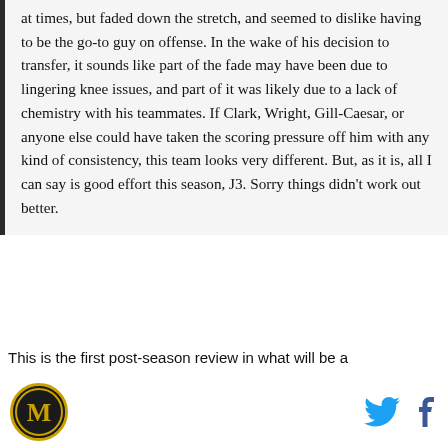at times, but faded down the stretch, and seemed to dislike having to be the go-to guy on offense. In the wake of his decision to transfer, it sounds like part of the fade may have been due to lingering knee issues, and part of it was likely due to a lack of chemistry with his teammates. If Clark, Wright, Gill-Caesar, or anyone else could have taken the scoring pressure off him with any kind of consistency, this team looks very different. But, as it is, all I can say is good effort this season, J3. Sorry things didn't work out better.
- - - - - - - - - - - - - - - - - - - - - - - - - - - - - - - - - - - - - - - - - - - - - - - - - - - - - - - - -
This is the first post-season review in what will be a
[Figure (logo): Circular logo with letter M on dark background with gold border]